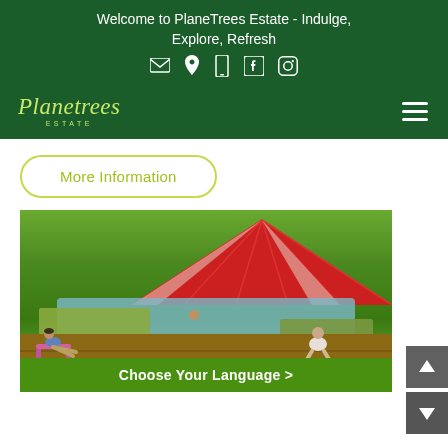Welcome to PlaneTrees Estate - Indulge, Explore, Refresh
[Figure (infographic): Social/contact icons row: email, location pin, phone, Facebook, Instagram]
[Figure (logo): PlaneTrees Estate logo in cursive script with ESTATE subtitle]
More Information
[Figure (photo): Outdoor natural swimming pool with red umbrella, people relaxing on wooden deck surrounded by lush greenery]
Choose Your Language >